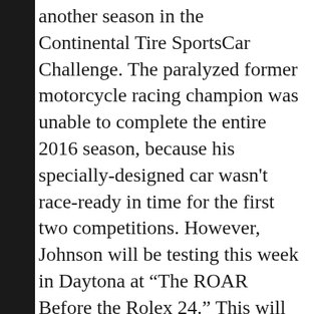another season in the Continental Tire SportsCar Challenge. The paralyzed former motorcycle racing champion was unable to complete the entire 2016 season, because his specially-designed car wasn't race-ready in time for the first two competitions. However, Johnson will be testing this week in Daytona at “The ROAR Before the Rolex 24.” This will be the first time the BMW driver has raced the 3.56-mile track.
“I’m very excited to drive at Daytona International Speedway this week